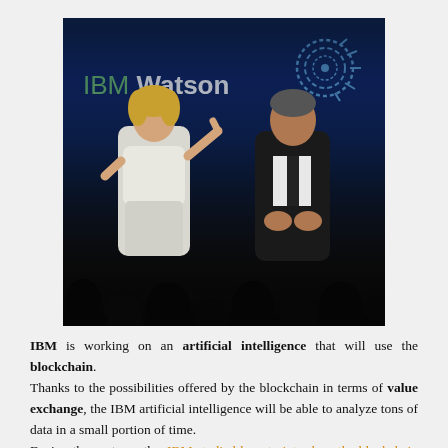[Figure (photo): Two people on stage in front of an IBM Watson backdrop. A woman in a white outfit gestures to the left, a man in dark clothing stands on the right. IBM Watson logo and IBM arc logo visible on dark blue background. Audience silhouettes visible at the bottom.]
IBM is working on an artificial intelligence that will use the blockchain. Thanks to the possibilities offered by the blockchain in terms of value exchange, the IBM artificial intelligence will be able to analyze tons of data in a small portion of time. During the past months, IBM studied how to introduce the blockchain technology to its artificial computer called Watson. And thanks to Tim Hahn this will happen for real. He explained to CoinDesk: